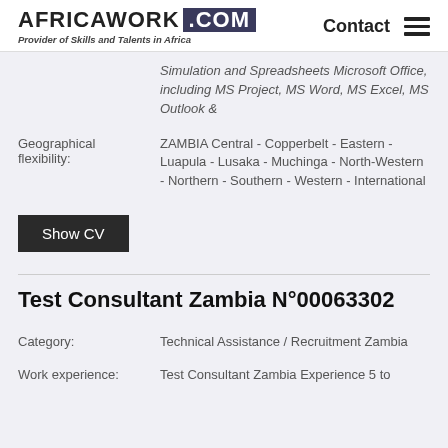AFRICAWORK .COM — Provider of Skills and Talents in Africa — Contact
Simulation and Spreadsheets Microsoft Office, including MS Project, MS Word, MS Excel, MS Outlook &
Geographical flexibility: ZAMBIA Central - Copperbelt - Eastern - Luapula - Lusaka - Muchinga - North-Western - Northern - Southern - Western - International
Show CV
Test Consultant Zambia N°00063302
Category: Technical Assistance / Recruitment Zambia
Work experience: Test Consultant Zambia Experience 5 to